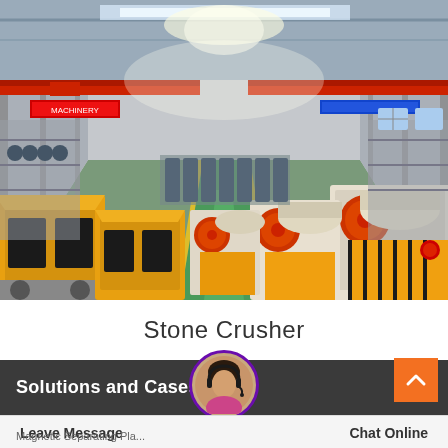[Figure (photo): Interior of a large industrial factory/warehouse showing rows of stone crusher machines and mining equipment. Yellow impact crushers on the left, white and orange jaw crushers on the right, with red overhead cranes and blue banner signs along the ceiling. Green-painted floor aisle runs through the center.]
Stone Crusher
Solutions and Cases
Leave Message
Chat Online
Magnetic Separating Pla...